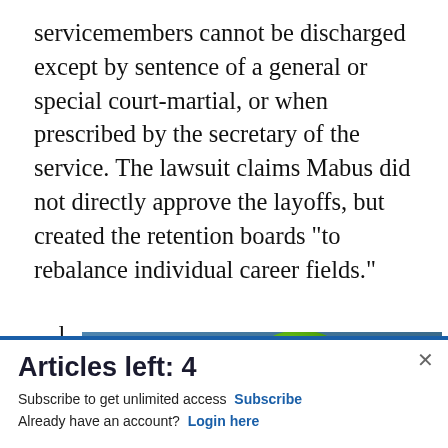servicemembers cannot be discharged except by sentence of a general or special court-martial, or when prescribed by the secretary of the service. The lawsuit claims Mabus did not directly approve the layoffs, but created the retention boards "to rebalance individual career fields."
[Figure (screenshot): Advertisement banner for Commissary Click2Go service showing logo, green circle with '2GO' text, Commissary emblem, and partial text 'order groceries']
Articles left: 4
Subscribe to get unlimited access Subscribe
Already have an account? Login here